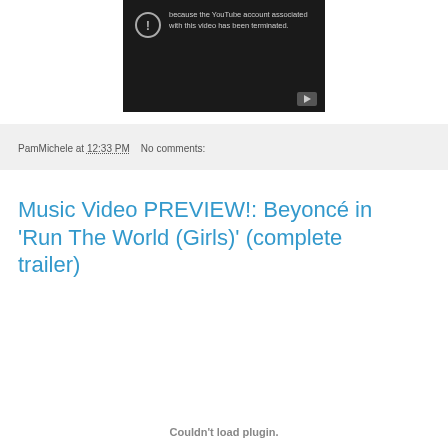[Figure (screenshot): YouTube video embed showing error: video unavailable because the YouTube account associated with this video has been terminated. Dark background with exclamation icon and YouTube play button.]
PamMichele at 12:33 PM   No comments:
Music Video PREVIEW!: Beyoncé in 'Run The World (Girls)' (complete trailer)
Couldn't load plugin.